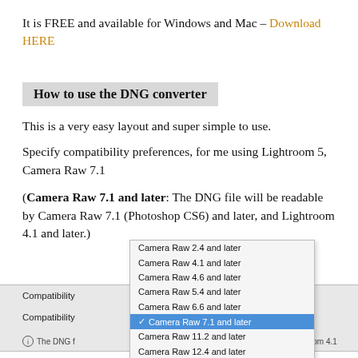It is FREE and available for Windows and Mac – Download HERE
How to use the DNG converter
This is a very easy layout and super simple to use.
Specify compatibility preferences, for me using Lightroom 5, Camera Raw 7.1
(Camera Raw 7.1 and later: The DNG file will be readable by Camera Raw 7.1 (Photoshop CS6) and later, and Lightroom 4.1 and later.)
[Figure (screenshot): Screenshot of DNG Converter compatibility dropdown menu showing options: Camera Raw 2.4 and later, Camera Raw 4.1 and later, Camera Raw 4.6 and later, Camera Raw 5.4 and later, Camera Raw 6.6 and later, Camera Raw 7.1 and later (selected/highlighted), Camera Raw 11.2 and later, Camera Raw 12.4 and later. Also shows Compatibility row and info text partially visible.]